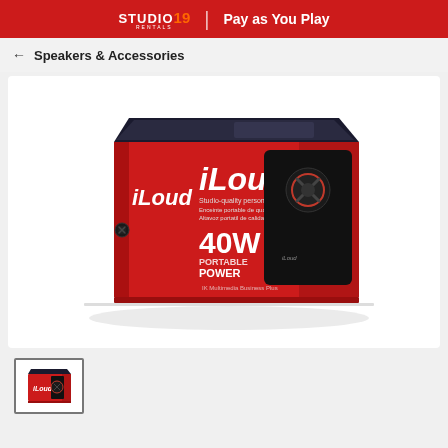STUDIO 19 RENTALS | Pay as You Play
← Speakers & Accessories
[Figure (photo): iLoud 40W Portable Power speaker product box by IK Multimedia. Red and black box showing the iLoud speaker with '40W PORTABLE POWER' text.]
[Figure (photo): Thumbnail of iLoud speaker box product image]